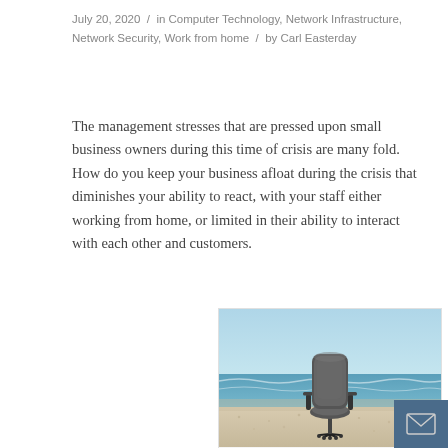July 20, 2020 / in Computer Technology, Network Infrastructure, Network Security, Work from home / by Carl Easterday
The management stresses that are pressed upon small business owners during this time of crisis are many fold. How do you keep your business afloat during the crisis that diminishes your ability to react, with your staff either working from home, or limited in their ability to interact with each other and customers.
[Figure (photo): An office chair sitting on a sandy beach with ocean waves in the background — illustrating the concept of working from home or remote work.]
Working from Home has expanded dramatically during the